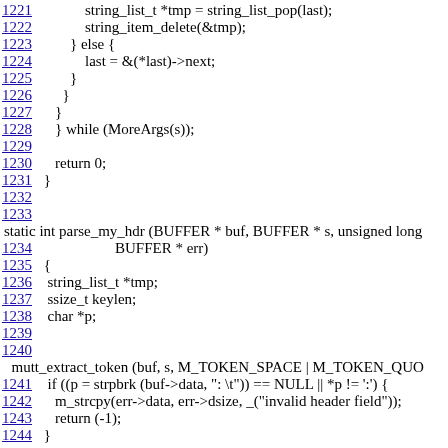Code listing lines 1221-1244, C source code for parse_my_hdr function
1221    string_list_t *tmp = string_list_pop(last);
1222        string_item_delete(&tmp);
1223    } else {
1224        last = &(*last)->next;
1225    }
1226    }
1227    }
1228    } while (MoreArgs(s));
1229
1230    return 0;
1231 }
1232
1233
static int parse_my_hdr (BUFFER * buf, BUFFER * s, unsigned long
1234                BUFFER * err)
1235 {
1236  string_list_t *tmp;
1237  ssize_t keylen;
1238  char *p;
1239
1240
mutt_extract_token (buf, s, M_TOKEN_SPACE | M_TOKEN_QUO
1241  if ((p = strpbrk (buf->data, ": \t")) == NULL || *p != ':') {
1242    m_strcpy(err->data, err->dsize, _("invalid header field"));
1243    return (-1);
1244 }